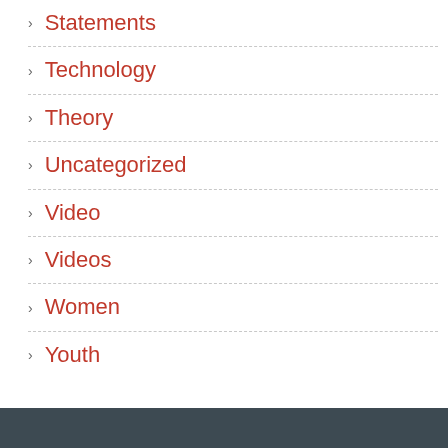Statements
Technology
Theory
Uncategorized
Video
Videos
Women
Youth